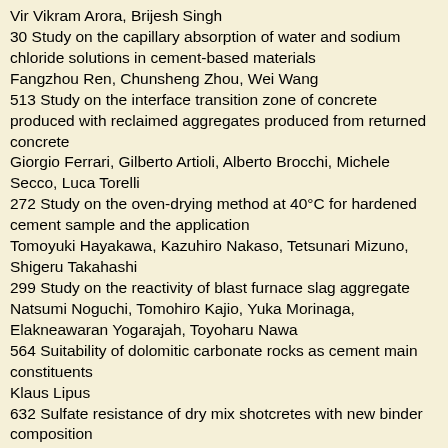Vir Vikram Arora, Brijesh Singh
30 Study on the capillary absorption of water and sodium chloride solutions in cement-based materials
Fangzhou Ren, Chunsheng Zhou, Wei Wang
513 Study on the interface transition zone of concrete produced with reclaimed aggregates produced from returned concrete
Giorgio Ferrari, Gilberto Artioli, Alberto Brocchi, Michele Secco, Luca Torelli
272 Study on the oven-drying method at 40°C for hardened cement sample and the application
Tomoyuki Hayakawa, Kazuhiro Nakaso, Tetsunari Mizuno, Shigeru Takahashi
299 Study on the reactivity of blast furnace slag aggregate
Natsumi Noguchi, Tomohiro Kajio, Yuka Morinaga, Elakneawaran Yogarajah, Toyoharu Nawa
564 Suitability of dolomitic carbonate rocks as cement main constituents
Klaus Lipus
632 Sulfate resistance of dry mix shotcretes with new binder composition
Florian Steindl, Florian Mittermayr, Maria Thumann, Joachim